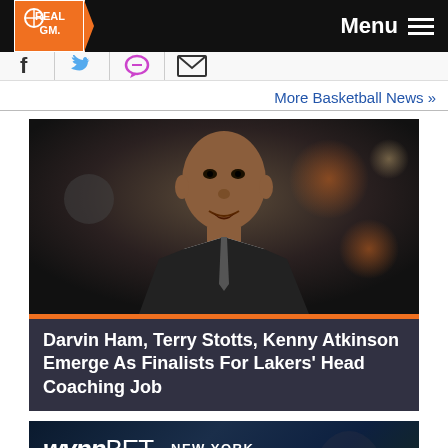RealGM — Menu
[Figure (screenshot): Social sharing icons: Facebook, Twitter, chat/comment, email]
More Basketball News »
[Figure (photo): Photo of Darvin Ham in a suit with bokeh background]
Darvin Ham, Terry Stotts, Kenny Atkinson Emerge As Finalists For Lakers' Head Coaching Job
[Figure (screenshot): WynnBET NEW YORK Sportsbook BONUS CODE advertisement banner]